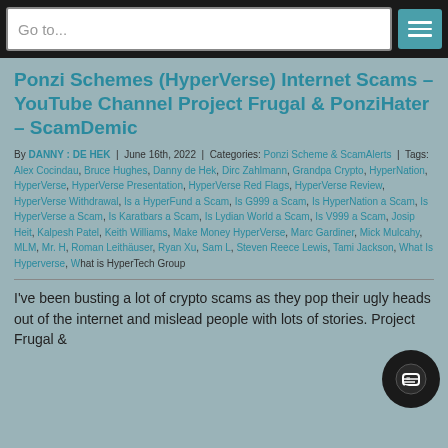Go to...
Ponzi Schemes (HyperVerse) Internet Scams – YouTube Channel Project Frugal & PonziHater – ScamDemic
By DANNY : DE HEK | June 16th, 2022 | Categories: Ponzi Scheme & ScamAlerts | Tags: Alex Cocindau, Bruce Hughes, Danny de Hek, Dirc Zahlmann, Grandpa Crypto, HyperNation, HyperVerse, HyperVerse Presentation, HyperVerse Red Flags, HyperVerse Review, HyperVerse Withdrawal, Is a HyperFund a Scam, Is G999 a Scam, Is HyperNation a Scam, Is HyperVerse a Scam, Is Karatbars a Scam, Is Lydian World a Scam, Is V999 a Scam, Josip Heit, Kalpesh Patel, Keith Williams, Make Money HyperVerse, Marc Gardiner, Mick Mulcahy, MLM, Mr. H, Roman Leithäuser, Ryan Xu, Sam L, Steven Reece Lewis, Tami Jackson, What Is Hyperverse, What is HyperTech Group
I've been busting a lot of crypto scams as they pop their ugly heads out of the internet and mislead people with lots of stories. Project Frugal &